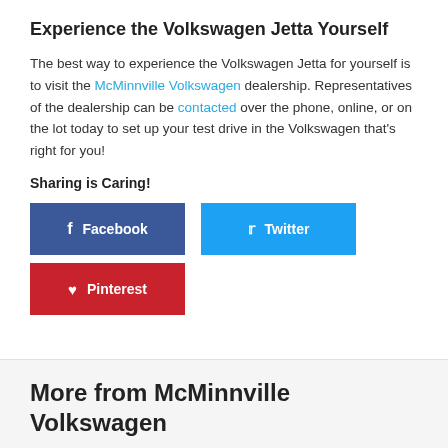Experience the Volkswagen Jetta Yourself
The best way to experience the Volkswagen Jetta for yourself is to visit the McMinnville Volkswagen dealership. Representatives of the dealership can be contacted over the phone, online, or on the lot today to set up your test drive in the Volkswagen that’s right for you!
Sharing is Caring!
[Figure (infographic): Social sharing buttons: Facebook (blue), Twitter (light blue), Pinterest (red)]
More from McMinnville Volkswagen